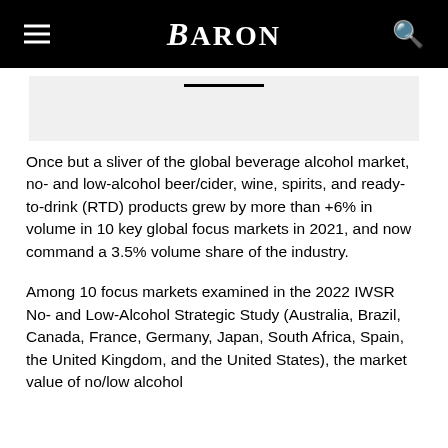BARON
[Figure (other): Gray placeholder image box with underline bar]
Once but a sliver of the global beverage alcohol market, no- and low-alcohol beer/cider, wine, spirits, and ready-to-drink (RTD) products grew by more than +6% in volume in 10 key global focus markets in 2021, and now command a 3.5% volume share of the industry.
Among 10 focus markets examined in the 2022 IWSR No- and Low-Alcohol Strategic Study (Australia, Brazil, Canada, France, Germany, Japan, South Africa, Spain, the United Kingdom, and the United States), the market value of no/low alcohol